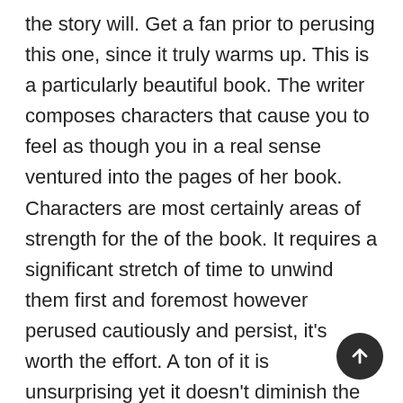the story will. Get a fan prior to perusing this one, since it truly warms up. This is a particularly beautiful book. The writer composes characters that cause you to feel as though you in a real sense ventured into the pages of her book. Characters are most certainly areas of strength for the of the book. It requires a significant stretch of time to unwind them first and foremost however perused cautiously and persist, it's worth the effort. A ton of it is unsurprising yet it doesn't diminish the story by any means, since it's composed with humor, engaging circumstances and fascinating characters. It is fiction designed for ladies, yet the message is one we as a whole should be helped to remember in our period of snap decisions and prepared judgments don't pass judgment on somebody till you have strolled a mile from their point of view and